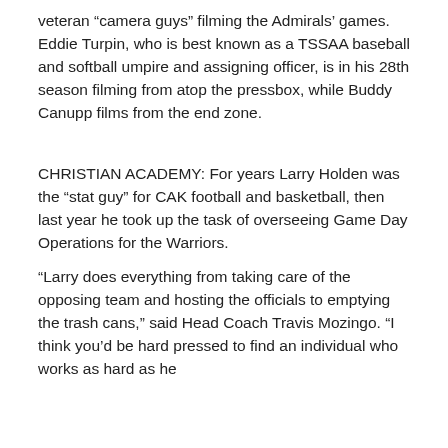veteran “camera guys” filming the Admirals’ games. Eddie Turpin, who is best known as a TSSAA baseball and softball umpire and assigning officer, is in his 28th season filming from atop the pressbox, while Buddy Canupp films from the end zone.
CHRISTIAN ACADEMY: For years Larry Holden was the “stat guy” for CAK football and basketball, then last year he took up the task of overseeing Game Day Operations for the Warriors.
“Larry does everything from taking care of the opposing team and hosting the officials to emptying the trash cans,” said Head Coach Travis Mozingo. “I think you’d be hard pressed to find an individual who works as hard as he